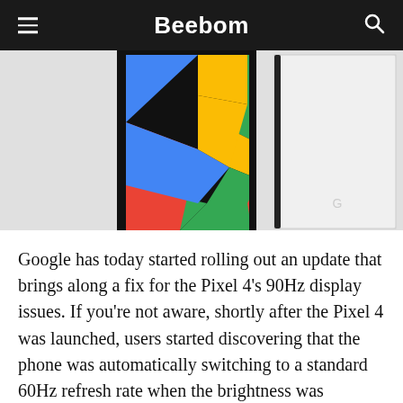Beebom
[Figure (photo): Two Google Pixel 4 smartphones shown side by side — one with a colorful geometric pattern on the back (black, yellow, blue, green, red) and one in white/light gray showing the back with a Google logo.]
Google has today started rolling out an update that brings along a fix for the Pixel 4's 90Hz display issues. If you're not aware, shortly after the Pixel 4 was launched, users started discovering that the phone was automatically switching to a standard 60Hz refresh rate when the brightness was lowered beyond a particular threshold even with the Smooth Display